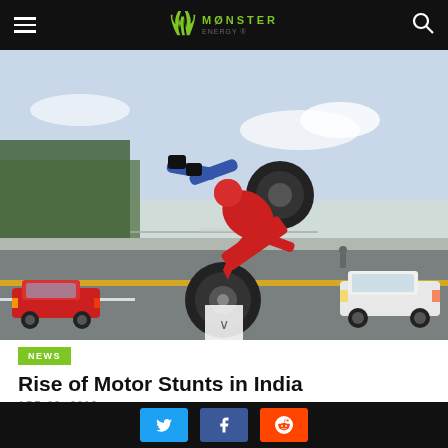Monster Energy
[Figure (photo): A motorcycle stunt rider performing a wheelie on a runway, with a red Ford Mustang on the left and a white Mercedes SUV on the right. The rider is nearly horizontal above the bike.]
NEWS
Rise of Motor Stunts in India
APR 02  2018
[Figure (other): Social share buttons: Twitter, Facebook, Reddit]
Social share bar with Twitter, Facebook, Reddit icons